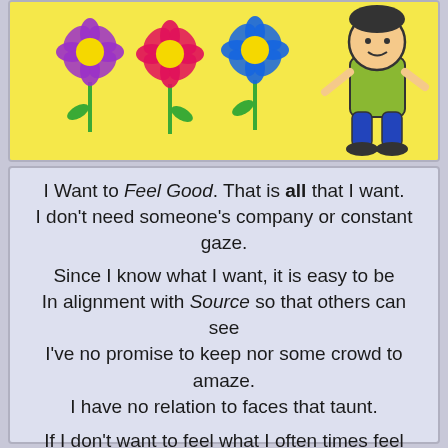[Figure (illustration): Illustration on yellow background with three cartoon flowers (purple, pink/magenta, blue) on the left and a cartoon character (person reading or relaxing) on the right.]
I Want to Feel Good. That is all that I want.
I don't need someone's company or constant gaze.
Since I know what I want, it is easy to be
In alignment with Source so that others can see
I've no promise to keep nor some crowd to amaze.
I have no relation to faces that taunt.

If I don't want to feel what I often times feel
I must keep my mind focused – not idle and prone